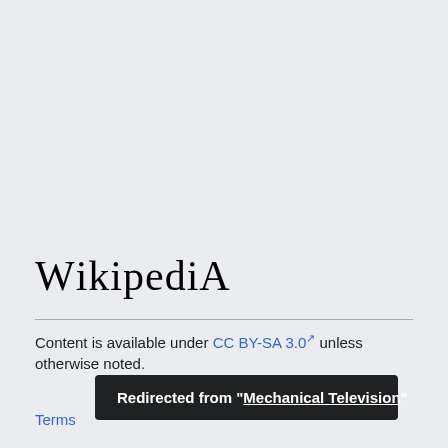Wikipedia
Content is available under CC BY-SA 3.0 unless otherwise noted.
Terms of Use
Redirected from "Mechanical Television"